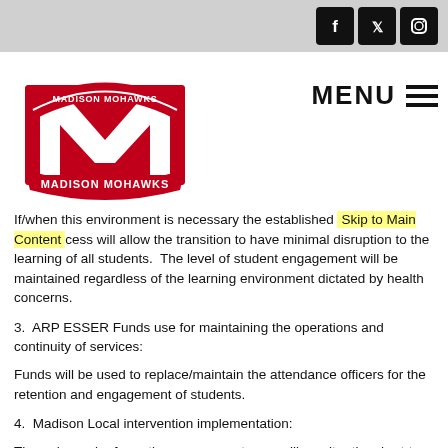[Figure (logo): Madison Mohawks school logo — red M with banner]
[Figure (infographic): Social media icons: Facebook, Twitter, Instagram in black rounded squares]
If/when this environment is necessary the established process will allow the transition to have minimal disruption to the learning of all students.  The level of student engagement will be maintained regardless of the learning environment dictated by health concerns.
3.  ARP ESSER Funds use for maintaining the operations and continuity of services:
Funds will be used to replace/maintain the attendance officers for the retention and engagement of students.
4.  Madison Local intervention implementation:
Through regular formative assessments, we will monitor the short-term successes of students and use the data to adjust our actions accordingly to ensure academic gap closure. Short-cycle assessments will also aid the monitoring of the